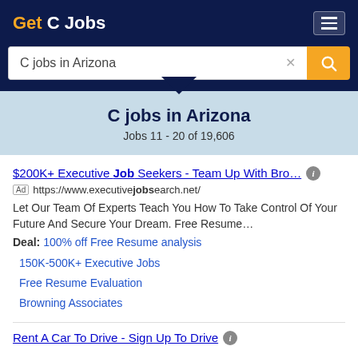Get C Jobs
C jobs in Arizona
C jobs in Arizona
Jobs 11 - 20 of 19,606
$200K+ Executive Job Seekers - Team Up With Bro…
Ad https://www.executivejobsearch.net/
Let Our Team Of Experts Teach You How To Take Control Of Your Future And Secure Your Dream. Free Resume…
Deal: 100% off Free Resume analysis
150K-500K+ Executive Jobs
Free Resume Evaluation
Browning Associates
Rent A Car To Drive - Sign Up To Drive